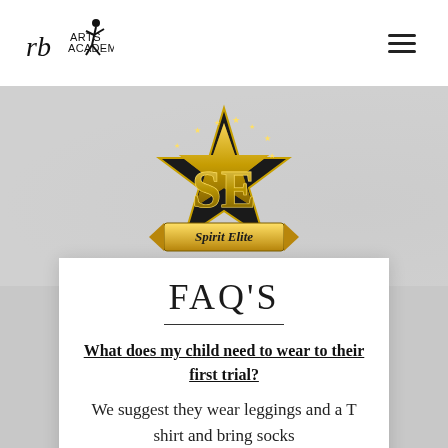[Figure (logo): RB Arts Academy logo — stylized dancer silhouette with 'rbo' text]
[Figure (logo): SE Spirit Elite logo — gold star badge with 'SE' letters and 'Spirit Elite' text in script]
FAQ'S
What does my child need to wear to their first trial?
We suggest they wear leggings and a T shirt and bring socks